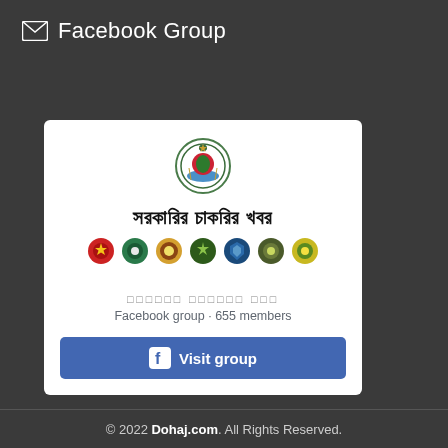Facebook Group
[Figure (screenshot): Facebook Group widget card showing a Bangladeshi government job news group. Contains Bangladesh national emblem logo, Bengali text title 'সরকারির চাকরির খবর', a row of 7 government department badge icons, Bengali group name text, 'Facebook group · 655 members' subtitle, and a blue 'Visit group' button with Facebook logo.]
© 2022 Dohaj.com. All Rights Reserved.